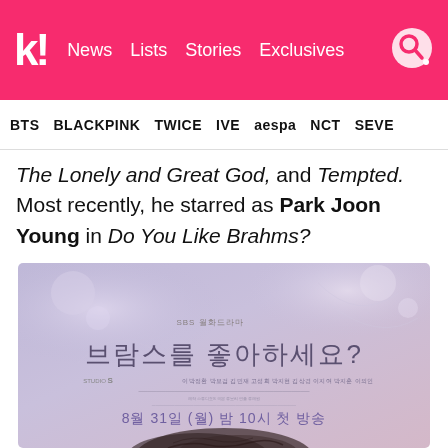k! News  Lists  Stories  Exclusives
BTS  BLACKPINK  TWICE  IVE  aespa  NCT  SEVE
The Lonely and Great God, and Tempted. Most recently, he starred as Park Joon Young in Do You Like Brahms?
[Figure (photo): SBS drama poster for 브람스를 좋아하세요? (Do You Like Brahms?) showing Korean title text, SBS branding, production credits, air date 8월 31일 (월) 밤 10시 첫 방송, and a person's hair at bottom. Soft purple/mauve gradient background.]